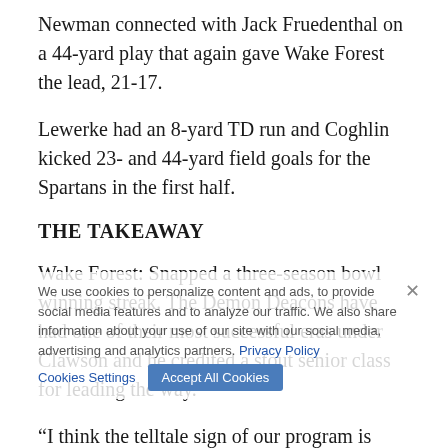Newman connected with Jack Fruedenthal on a 44-yard play that again gave Wake Forest the lead, 21-17.
Lewerke had an 8-yard TD run and Coghlin kicked 23- and 44-yard field goals for the Spartans in the first half.
THE TAKEAWAY
Wake Forest: Snapped a three-season bowl winning streak. The Demon Deacons have had one of their most successful eras under Clawson and he credited a stout senior class for leading the way.
“I think the telltale sign of our program is we’re not happy,” he said. “We’re disappointed we didn’t get double-digit wins, that we didn’t win our fourth bowl game in a (row). I think we’re past the point of just being happy to get to a bowl. I think these guys have changed the culture and expectation level of our